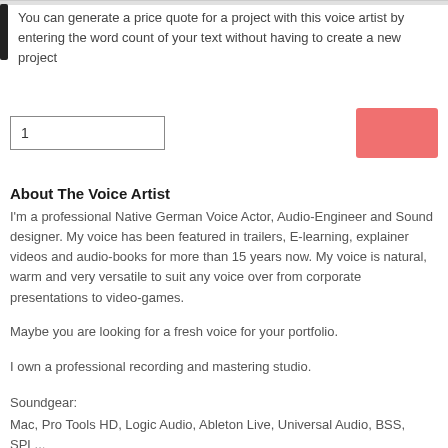You can generate a price quote for a project with this voice artist by entering the word count of your text without having to create a new project
[Figure (screenshot): Text input box with value '1' and a salmon/red button to the right]
About The Voice Artist
I'm a professional Native German Voice Actor, Audio-Engineer and Sound designer. My voice has been featured in trailers, E-learning, explainer videos and audio-books for more than 15 years now. My voice is natural, warm and very versatile to suit any voice over from corporate presentations to video-games.
Maybe you are looking for a fresh voice for your portfolio.
I own a professional recording and mastering studio.
Soundgear:
Mac, Pro Tools HD, Logic Audio, Ableton Live, Universal Audio, BSS, SPL...